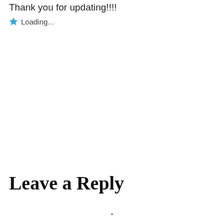Thank you for updating!!!!
★ Loading...
Leave a Reply
*